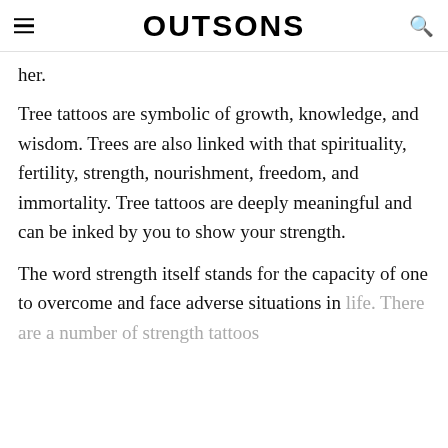OUTSONS
her.
Tree tattoos are symbolic of growth, knowledge, and wisdom. Trees are also linked with that spirituality, fertility, strength, nourishment, freedom, and immortality. Tree tattoos are deeply meaningful and can be inked by you to show your strength.
The word strength itself stands for the capacity of one to overcome and face adverse situations in life. There are a number of strength tattoos